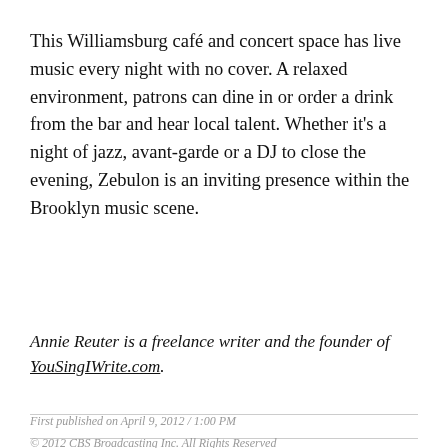This Williamsburg café and concert space has live music every night with no cover. A relaxed environment, patrons can dine in or order a drink from the bar and hear local talent. Whether it's a night of jazz, avant-garde or a DJ to close the evening, Zebulon is an inviting presence within the Brooklyn music scene.
Annie Reuter is a freelance writer and the founder of YouSingIWrite.com.
First published on April 9, 2012 / 1:00 PM
© 2012 CBS Broadcasting Inc. All Rights Reserved